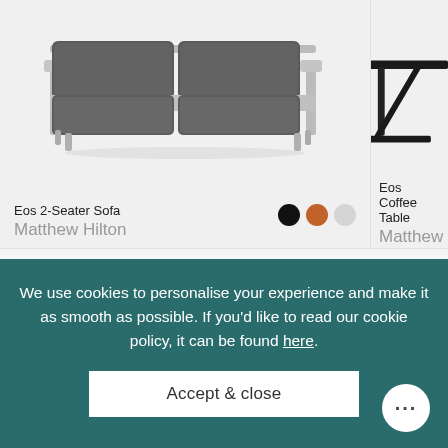[Figure (photo): Eos 2-Seater Sofa product image — light grey metal frame sofa with dark grey cushions, two seats, minimalist modern outdoor design]
Eos 2-Seater Sofa
Matthew Hilton
[Figure (photo): Eos Coffee Table product image — black metal frame coffee table, partially cropped on the right side]
Eos Coffee Table
Matthew Hilto
We use cookies to personalise your experience and make it as smooth as possible. If you'd like to read our cookie policy, it can be found here.
Accept & close